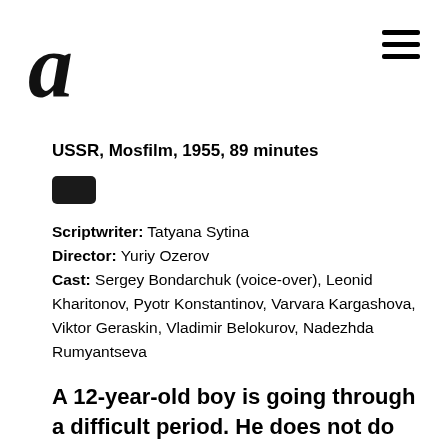[Figure (logo): Film reel stylized letter 'a' logo in black]
[Figure (other): Hamburger menu icon with three horizontal lines]
USSR, Mosfilm, 1955, 89 minutes
[Figure (other): Small black rounded rectangle icon]
Scriptwriter: Tatyana Sytina
Director: Yuriy Ozerov
Cast: Sergey Bondarchuk (voice-over), Leonid Kharitonov, Pyotr Konstantinov, Varvara Kargashova, Viktor Geraskin, Vladimir Belokurov, Nadezhda Rumyantseva
A 12-year-old boy is going through a difficult period. He does not do well at school; he quarrels with his father, leaves